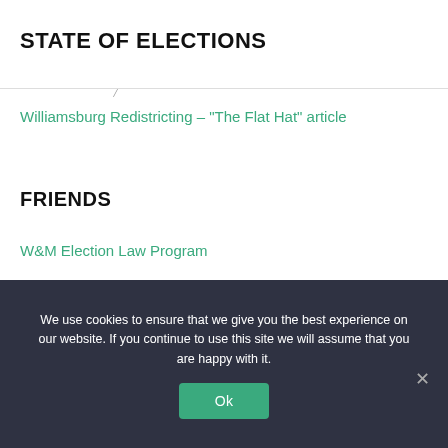STATE OF ELECTIONS
Williamsburg Redistricting – "The Flat Hat" article
FRIENDS
W&M Election Law Program
We use cookies to ensure that we give you the best experience on our website. If you continue to use this site we will assume that you are happy with it.